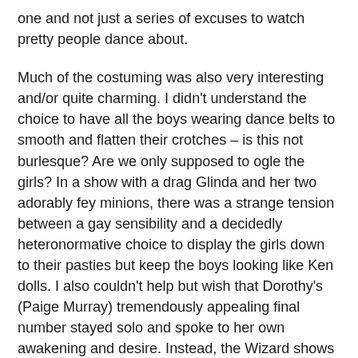one and not just a series of excuses to watch pretty people dance about.
Much of the costuming was also very interesting and/or quite charming. I didn’t understand the choice to have all the boys wearing dance belts to smooth and flatten their crotches – is this not burlesque? Are we only supposed to ogle the girls? In a show with a drag Glinda and her two adorably fey minions, there was a strange tension between a gay sensibility and a decidedly heteronormative choice to display the girls down to their pasties but keep the boys looking like Ken dolls. I also couldn’t help but wish that Dorothy’s (Paige Murray) tremendously appealing final number stayed solo and spoke to her own awakening and desire. Instead, the Wizard shows up in the middle and adds nothing but a male gaze that approves her. I would have liked it better if the number had taken a more readably empowering turn.
Overall, this is an enjoyable burlesque experience but not